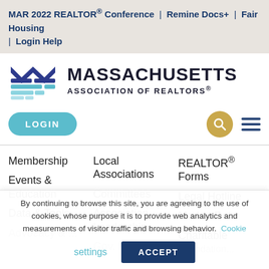MAR 2022 REALTOR® Conference | Remine Docs+ | Fair Housing | Login Help
[Figure (logo): Massachusetts Association of REALTORS® logo with stylized M graphic in blue and teal tones, followed by MASSACHUSETTS ASSOCIATION OF REALTORS® text]
LOGIN button, search icon, and menu/hamburger icon
Membership
Local Associations
REALTOR® Forms
Events & Education
Committees
Legal Hotline
Data & Tools
Association
Market Data
Leadership
Charitable
By continuing to browse this site, you are agreeing to the use of cookies, whose purpose it is to provide web analytics and measurements of visitor traffic and browsing behavior. Cookie settings ACCEPT